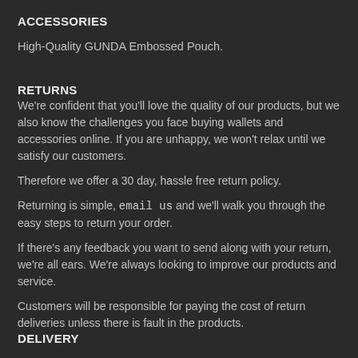ACCESSORIES
High-Quality GUNDA Embossed Pouch.
RETURNS
We're confident that you'll love the quality of our products, but we also know the challenges you face buying wallets and accessories online. If you are unhappy, we won't relax until we satisfy our customers.
Therefore we offer a 30 day, hassle free return policy.
Returning is simple, email us and we'll walk you through the easy steps to return your order.
If there's any feedback you want to send along with your return, we're all ears. We're always looking to improve our products and service.
Customers will be responsible for paying the cost of return deliveries unless there is fault in the products.
DELIVERY